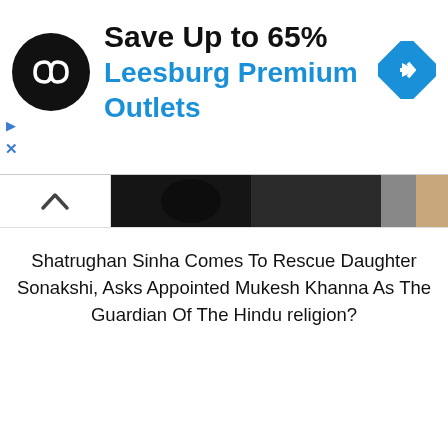[Figure (advertisement): Ad banner: black circular logo with infinity/chain icon, text 'Save Up to 65%' in black and 'Leesburg Premium Outlets' in blue, blue diamond navigation icon on right, small play and X icons bottom left]
[Figure (photo): Partial photo strip showing a dark image, appears to be a Bollywood celebrity photo]
Shatrughan Sinha Comes To Rescue Daughter Sonakshi, Asks Appointed Mukesh Khanna As The Guardian Of The Hindu religion?